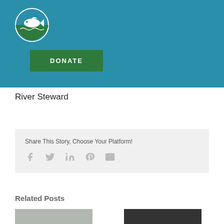[Figure (logo): Circular fish/river logo with white fish on green and blue background]
[Figure (other): Green DONATE button]
River Steward
Share This Story, Choose Your Platform!
[Figure (infographic): Social share icons: Facebook, Twitter, LinkedIn, Pinterest, Email]
Related Posts
[Figure (photo): Thumbnail image left]
[Figure (photo): Thumbnail image right]